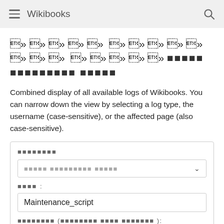Wikibooks
གནས་ཚུལ་ཡིག་ཆའི་ཐོ་གཞུང་
Combined display of all available logs of Wikibooks. You can narrow down the view by selecting a log type, the username (case-sensitive), or the affected page (also case-sensitive).
དབྱིབས་རིགས།
གནས་ཚུལ་ཡིག་ཆའི་ཐོ་གཞུང་
མིང་།:
Maintenance_script
ངོས་འཛིན་སྦོར་མིང་ (གཡས་འཁོར་གྱི་མཐོང་ཚོར་):